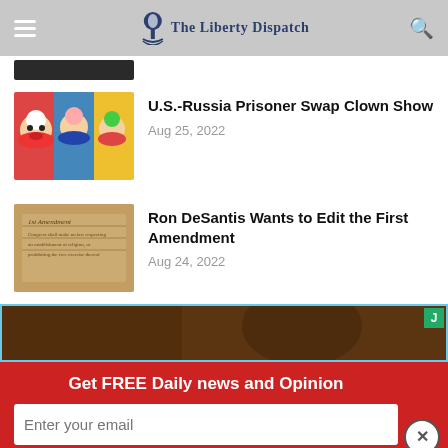The Liberty Dispatch
[Figure (photo): Partial image of article thumbnail at top of page (cropped)]
U.S.-Russia Prisoner Swap Clown Show
Aug 25, 2022
[Figure (photo): Photo of colorful clown figures/toys]
Ron DeSantis Wants to Edit the First Amendment
Aug 24, 2022
[Figure (photo): Photo of the 1st Amendment document]
[Figure (photo): Partial photo of a person's face (advertisement)]
Get FREE Daily news and Opinion
Enter your email
Subscribe